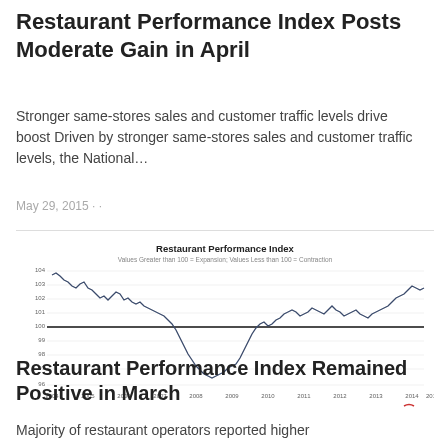Restaurant Performance Index Posts Moderate Gain in April
Stronger same-stores sales and customer traffic levels drive boost Driven by stronger same-stores sales and customer traffic levels, the National…
May 29, 2015 · ·
[Figure (continuous-plot): Line chart of Restaurant Performance Index from 2004 to 2015. Values Greater than 100 = Expansion; Values Less than 100 = Contraction. The index starts around 103-104 in 2004, declines through 2006-2009 reaching a low near 96, then recovers above 100 from 2010 onwards, rising to about 102-103 by 2015.]
Restaurant Performance Index Remained Positive in March
Majority of restaurant operators reported higher